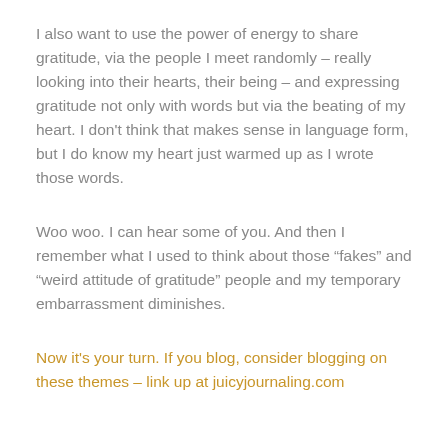I also want to use the power of energy to share gratitude, via the people I meet randomly – really looking into their hearts, their being – and expressing gratitude not only with words but via the beating of my heart. I don't think that makes sense in language form, but I do know my heart just warmed up as I wrote those words.
Woo woo. I can hear some of you. And then I remember what I used to think about those “fakes” and “weird attitude of gratitude” people and my temporary embarrassment diminishes.
Now it's your turn. If you blog, consider blogging on these themes – link up at juicyjournaling.com